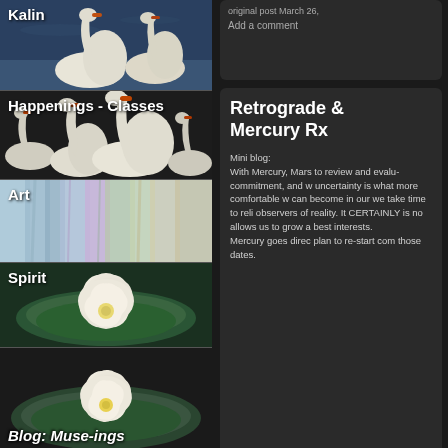[Figure (photo): Navigation sidebar with swan and nature photos: Kalin (swans on water), Happenings - Classes (swans), Art (colorful painted artwork), Spirit (water lily), Blog: Muse-ings]
original post March 26,
Add a comment
Retrograde Mercury Rx
Mini blog:
With Mercury, Mars to review and evaluate commitment, and w uncertainty is what more comfortable w can become in our we take time to reli observers of reality. It CERTAINLY is no allows us to grow a best interests.
Mercury goes direc plan to re-start com those dates.